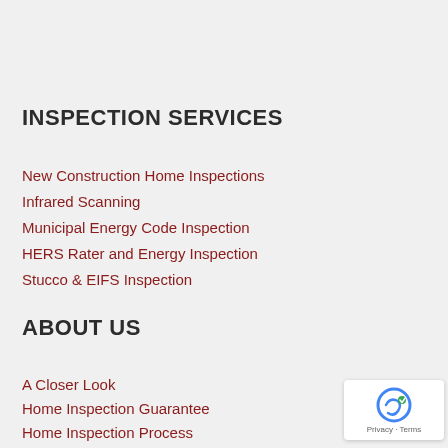INSPECTION SERVICES
New Construction Home Inspections
Infrared Scanning
Municipal Energy Code Inspection
HERS Rater and Energy Inspection
Stucco & EIFS Inspection
ABOUT US
A Closer Look
Home Inspection Guarantee
Home Inspection Process
FAQ